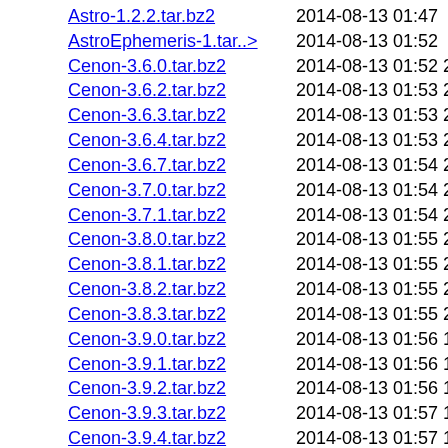Astro-1.2.2.tar.bz2    2014-08-13 01:47  12M
AstroEphemeris-1.tar..>  2014-08-13 01:52  34M
Cenon-3.6.0.tar.bz2    2014-08-13 01:52 2.0M
Cenon-3.6.2.tar.bz2    2014-08-13 01:53 2.0M
Cenon-3.6.3.tar.bz2    2014-08-13 01:53 2.0M
Cenon-3.6.4.tar.bz2    2014-08-13 01:53 2.0M
Cenon-3.6.7.tar.bz2    2014-08-13 01:54 2.0M
Cenon-3.7.0.tar.bz2    2014-08-13 01:54 2.0M
Cenon-3.7.1.tar.bz2    2014-08-13 01:54 2.0M
Cenon-3.8.0.tar.bz2    2014-08-13 01:55 2.0M
Cenon-3.8.1.tar.bz2    2014-08-13 01:55 2.0M
Cenon-3.8.2.tar.bz2    2014-08-13 01:55 2.1M
Cenon-3.8.3.tar.bz2    2014-08-13 01:55 2.1M
Cenon-3.9.0.tar.bz2    2014-08-13 01:56 1.3M
Cenon-3.9.1.tar.bz2    2014-08-13 01:56 1.8M
Cenon-3.9.2.tar.bz2    2014-08-13 01:56 1.9M
Cenon-3.9.3.tar.bz2    2014-08-13 01:57 1.9M
Cenon-3.9.4.tar.bz2    2014-08-13 01:57 1.9M
Cenon-3.9.5.tar.bz2    2014-08-13 01:57 1.9M
Cenon-3.9.6.tar.bz2    2014-08-13 01:57 1.9M
Cenon-3.9.7.tar.bz2    2014-08-13 01:58 1.9M